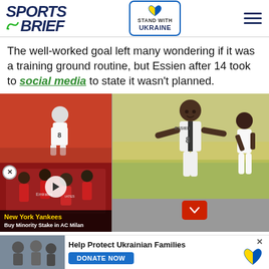Sports Brief — STAND WITH UKRAINE
The well-worked goal left many wondering if it was a training ground routine, but Essien after 14 took to social media to state it wasn't planned.
[Figure (photo): Collage of two soccer photos: top-left shows player #8 in white kit running; top-right shows player #8 (Essien) celebrating with teammate; bottom-left shows video overlay of AC Milan players in red kit with play button and headline 'New York Yankees Buy Minority Stake in AC Milan']
[Figure (photo): Bottom advertisement banner: Help Protect Ukrainian Families — DONATE NOW with Ukrainian flag heart icon]